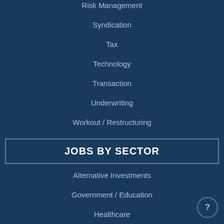Risk Management
Syndication
Tax
Technology
Transaction
Underwriting
Workout / Restructuring
JOBS BY SECTOR
Alternative Investments
Government / Education
Healthcare
Hospitality & Entertainment
Industrial